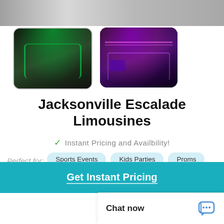[Figure (photo): Top partial photo of a limousine exterior, gray/asphalt background]
[Figure (photo): Thumbnail of limo interior with green ambient lighting and seating]
[Figure (photo): Thumbnail of limo interior with purple/pink ambient lighting and long bench seating]
Jacksonville Escalade Limousines
✓ Instant Pricing and Availbility!
Perfect for: Sports Events  Kids Parties  Proms  Homecomings  Graduations
Get Instant Pricing
Chat now